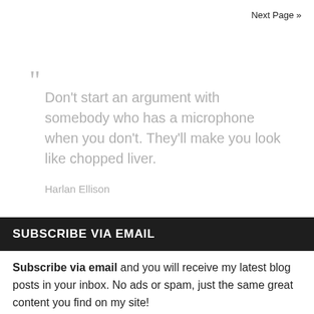Next Page »
“ Don't start an argument with somebody who has a microphone when you don't. They'll make you look like chopped liver.

Harlan Ellison
SUBSCRIBE VIA EMAIL
Subscribe via email and you will receive my latest blog posts in your inbox. No ads or spam, just the same great content you find on my site!